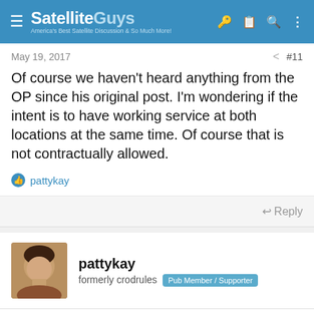SatelliteGuys — America's Best Satellite Discussion & So Much More!
May 19, 2017  #11
Of course we haven't heard anything from the OP since his original post. I'm wondering if the intent is to have working service at both locations at the same time. Of course that is not contractually allowed.
pattykay
Reply
pattykay
formerly crodrules  Pub Member / Supporter
May 19, 2017  #12
Bobby said: